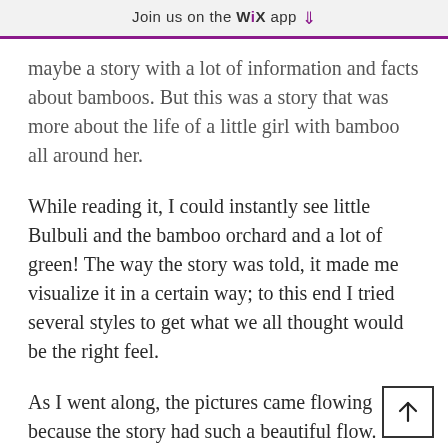Join us on the WiX app ↓
maybe a story with a lot of information and facts about bamboos. But this was a story that was more about the life of a little girl with bamboo all around her.
While reading it, I could instantly see little Bulbuli and the bamboo orchard and a lot of green! The way the story was told, it made me visualize it in a certain way; to this end I tried several styles to get what we all thought would be the right feel.
As I went along, the pictures came flowing because the story had such a beautiful flow.
What medium did you use to create the pictures?